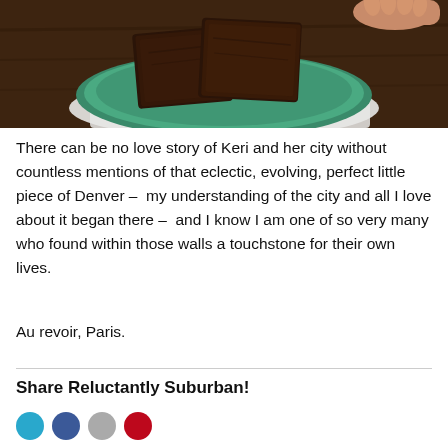[Figure (photo): A green plate holding two dark chocolate brownies, placed on a white cloth napkin on a wooden table. A hand is visible at the top right holding the plate.]
There can be no love story of Keri and her city without countless mentions of that eclectic, evolving, perfect little piece of Denver –  my understanding of the city and all I love about it began there –  and I know I am one of so very many who found within those walls a touchstone for their own lives.
Au revoir, Paris.
Share Reluctantly Suburban!
[Figure (illustration): Row of social sharing icons: Twitter (teal circle), Facebook (blue circle), grey circle, Pinterest (red circle)]